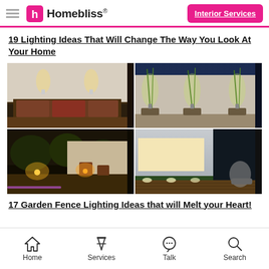Homebliss® | Interior Services
19 Lighting Ideas That Will Change The Way You Look At Your Home
[Figure (photo): Four outdoor garden and patio lighting photos arranged in a 2x2 grid: top-left shows wall-mounted up-lights on a white wall with a lounge seating area, top-right shows uplighted bamboo/plants along a wall at dusk, bottom-left shows warm decorative garden lighting with trees and planters, bottom-right shows ground-level pathway lighting on a modern outdoor deck with lawn.]
17 Garden Fence Lighting Ideas that will Melt your Heart!
Home | Services | Talk | Search